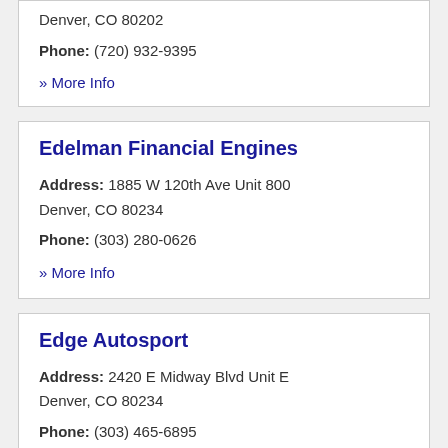Denver, CO 80202
Phone: (720) 932-9395
» More Info
Edelman Financial Engines
Address: 1885 W 120th Ave Unit 800 Denver, CO 80234
Phone: (303) 280-0626
» More Info
Edge Autosport
Address: 2420 E Midway Blvd Unit E Denver, CO 80234
Phone: (303) 465-6895